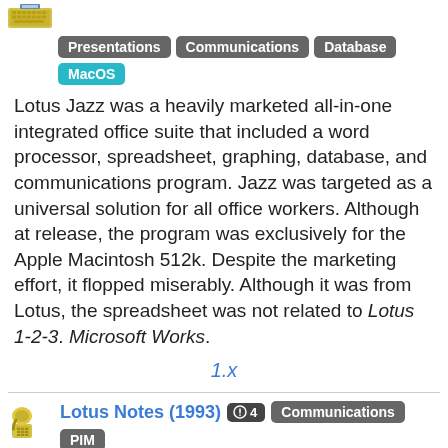Tags: Presentations, Communications, Database, MacOS
Lotus Jazz was a heavily marketed all-in-one integrated office suite that included a word processor, spreadsheet, graphing, database, and communications program. Jazz was targeted as a universal solution for all office workers. Although at release, the program was exclusively for the Apple Macintosh 512k. Despite the marketing effort, it flopped miserably. Although it was from Lotus, the spreadsheet was not related to Lotus 1-2-3. Microsoft Works.
1.x
Lotus Notes (1993)
Tags: Communications, PIM, Windows, MacOS
Lotus Notes is a powerful e-mail and collaboration tool. It was heavily used by large corporations. It